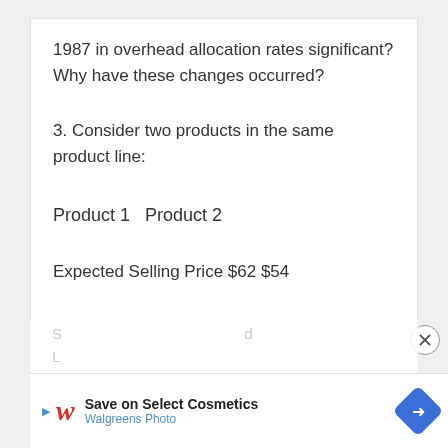1987 in overhead allocation rates significant? Why have these changes occurred?
3. Consider two products in the same product line:
Product 1  Product 2
Expected Selling Price $62 $54
[Figure (other): Close button (X in circle) on the right side of the content]
[Figure (other): Walgreens Photo advertisement banner: Save on Select Cosmetics, Walgreens Photo]